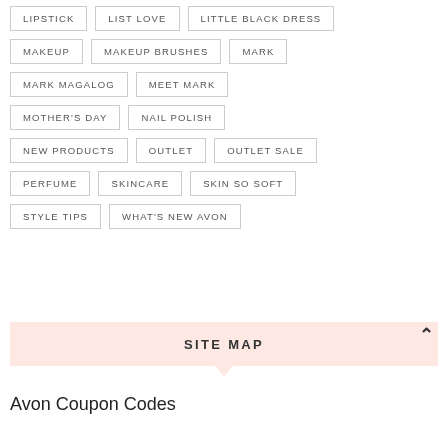LIPSTICK
LIST LOVE
LITTLE BLACK DRESS
MAKEUP
MAKEUP BRUSHES
MARK
MARK MAGALOG
MEET MARK
MOTHER'S DAY
NAIL POLISH
NEW PRODUCTS
OUTLET
OUTLET SALE
PERFUME
SKINCARE
SKIN SO SOFT
STYLE TIPS
WHAT'S NEW AVON
SITE MAP
Avon Coupon Codes